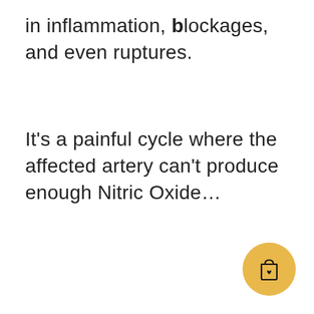in inflammation, blockages, and even ruptures.
It's a painful cycle where the affected artery can't produce enough Nitric Oxide...
[Figure (illustration): A circular golden/amber button with a shopping bag icon that has a small heart on it, positioned in the bottom-right corner of the page.]